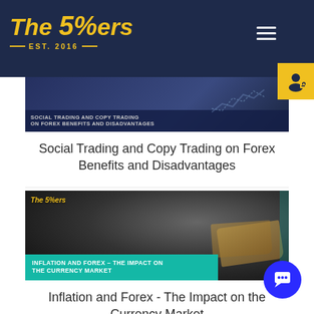The 5%ers EST. 2016
[Figure (screenshot): Article thumbnail for Social Trading and Copy Trading on Forex Benefits and Disadvantages with dark blue background and chart graphics]
Social Trading and Copy Trading on Forex Benefits and Disadvantages
[Figure (photo): Article thumbnail showing dollar bills being held, with teal overlay text: INFLATION AND FOREX – THE IMPACT ON THE CURRENCY MARKET]
Inflation and Forex - The Impact on the Currency Market
[Figure (screenshot): Partial article thumbnail at bottom of page with The 5%ers logo visible]